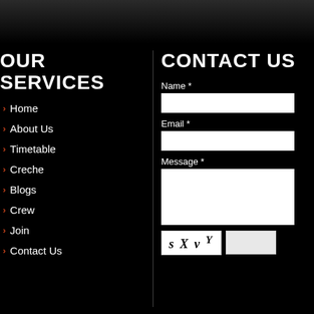[Figure (screenshot): Dark navigation header bar at top of page]
OUR SERVICES
Home
About Us
Timetable
Creche
Blogs
Crew
Join
Contact Us
CONTACT US
Name *
Email *
Message *
[Figure (screenshot): CAPTCHA image showing text: s X V Y]